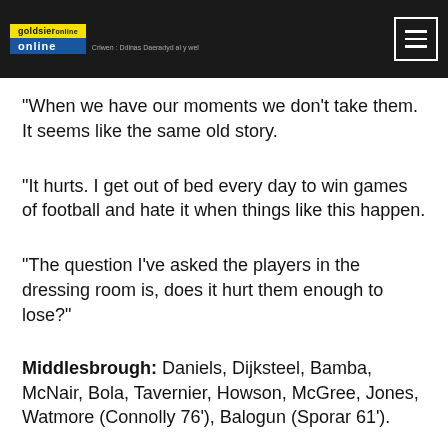goldsieronline — Criwen: Ddinas Daeradyd al y wel
"When we have our moments we don't take them. It seems like the same old story.
"It hurts. I get out of bed every day to win games of football and hate it when things like this happen.
"The question I've asked the players in the dressing room is, does it hurt them enough to lose?"
Middlesbrough: Daniels, Dijksteel, Bamba, McNair, Bola, Tavernier, Howson, McGree, Jones, Watmore (Connolly 76'), Balogun (Sporar 61').